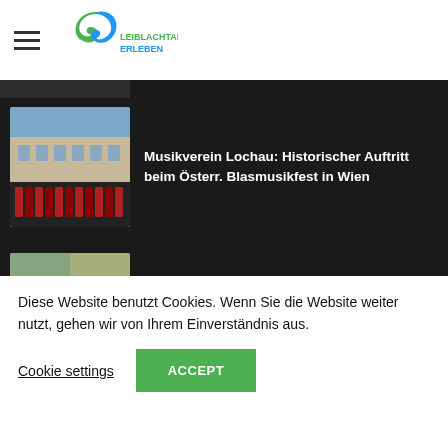[Figure (logo): Leiblachtal Erleben logo — green and blue swirl mark with text]
Musikverein Lochau: Historischer Auftritt beim Österr. Blasmusikfest in Wien
[Figure (photo): Photo of a marching band in red uniforms in front of a historic building]
Lochau verordnet fünf neue Fahrradstraßen
[Figure (photo): Photo of a bicycle on a street with road markings]
Impressum und Datenschutz
Diese Website benutzt Cookies. Wenn Sie die Website weiter nutzt, gehen wir von Ihrem Einverständnis aus.
Cookie settings
ACCEPT